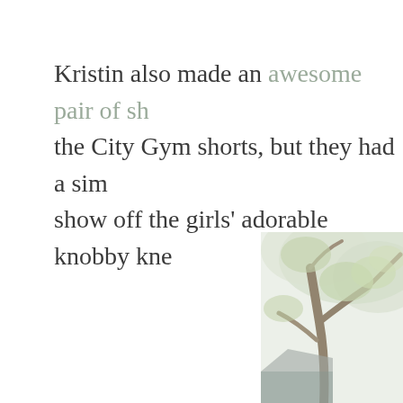Kristin also made an awesome pair of sh... the City Gym shorts, but they had a sim... show off the girls' adorable knobby kne...
[Figure (photo): Outdoor photo showing tree branches with green foliage and a building roof visible in the background, taken in natural light.]